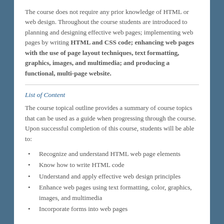The course does not require any prior knowledge of HTML or web design. Throughout the course students are introduced to planning and designing effective web pages; implementing web pages by writing HTML and CSS code; enhancing web pages with the use of page layout techniques, text formatting, graphics, images, and multimedia; and producing a functional, multi-page website.
List of Content
The course topical outline provides a summary of course topics that can be used as a guide when progressing through the course. Upon successful completion of this course, students will be able to:
Recognize and understand HTML web page elements
Know how to write HTML code
Understand and apply effective web design principles
Enhance web pages using text formatting, color, graphics, images, and multimedia
Incorporate forms into web pages